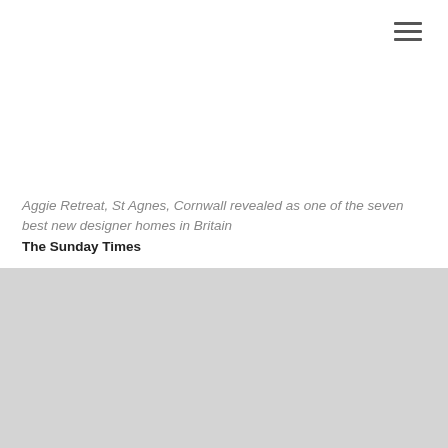[Figure (other): Hamburger menu icon (three horizontal lines) in top-right corner]
Aggie Retreat, St Agnes, Cornwall revealed as one of the seven best new designer homes in Britain
The Sunday Times
© 2022 Ecospace® - Site by Tamassy

Ecospace Studios
5a/6a Iliffe Yard, SE17 3QA
T. +44 (0)207 703 4004